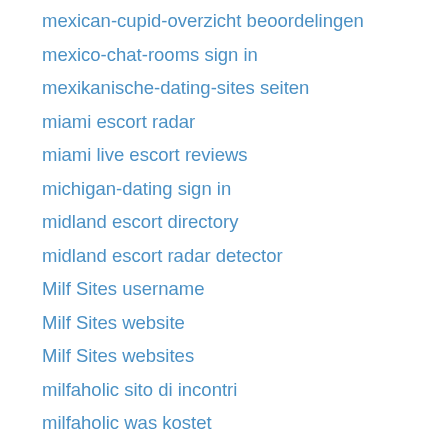mexican-cupid-overzicht beoordelingen
mexico-chat-rooms sign in
mexikanische-dating-sites seiten
miami escort radar
miami live escort reviews
michigan-dating sign in
midland escort directory
midland escort radar detector
Milf Sites username
Milf Sites website
Milf Sites websites
milfaholic sito di incontri
milfaholic was kostet
military-pen-pals-dating reviews
militarycupid preise